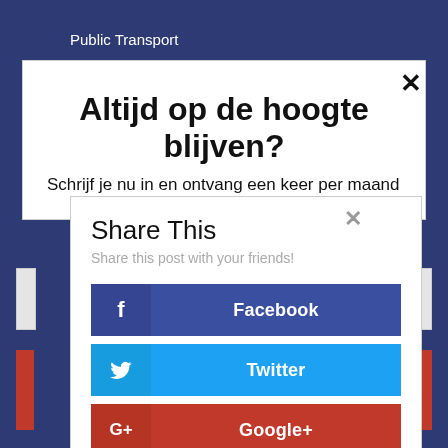Public Transport
Altijd op de hoogte blijven?
Schrijf je nu in en ontvang een keer per maand
Share This
Share this post with your friends!
Facebook
Twitter
Google+
LinkedIn